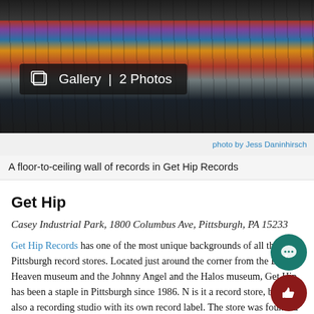[Figure (photo): A floor-to-ceiling wall of records in Get Hip Records store, showing rows of vinyl records and CDs on shelving. Dark, moody lighting. Gallery badge overlay showing '2 Photos'.]
photo by Jess Daninhirsch
A floor-to-ceiling wall of records in Get Hip Records
Get Hip
Casey Industrial Park, 1800 Columbus Ave, Pittsburgh, PA 15233
Get Hip Records has one of the most unique backgrounds of all the Pittsburgh record stores. Located just around the corner from the Bicycle Heaven museum and the Johnny Angel and the Halos museum, Get Hip has been a staple in Pittsburgh since 1986. Not only is it a record store, but it is also a recording studio with its own record label. The store was founded by members of the Pittsburgh-native band The Cynics, who formed in 1985.